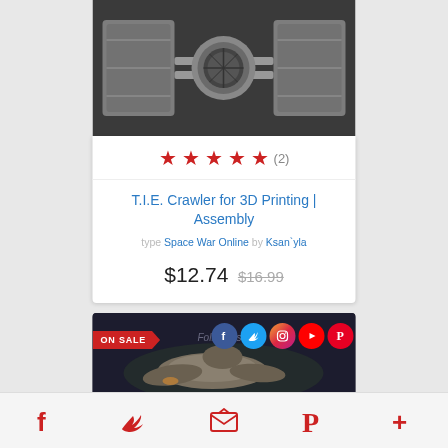[Figure (photo): 3D printed TIE Fighter model (TIE Crawler) photographed against dark background, showing metallic grey spacecraft model]
★ ★ ★ ★ ★ (2)
T.I.E. Crawler for 3D Printing | Assembly
type Space War Online by Ksan`yla
$12.74 $16.99
[Figure (screenshot): Product thumbnail showing a 3D spacecraft model with ON SALE badge, Follow Us text, and social media icons (Facebook, Twitter, Instagram, YouTube, Pinterest)]
Facebook | Twitter | Email | Pinterest | More